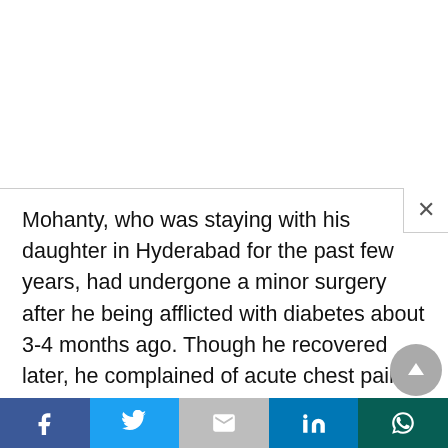Mohanty, who was staying with his daughter in Hyderabad for the past few years, had undergone a minor surgery after he being afflicted with diabetes about 3-4 months ago. Though he recovered later, he complained of acute chest pain on May 25 and was admitted to the ICU of a private hospital in Hyderabad. During the test, he was diagnosed with a critical cardiac problem. However, his health has improved since then, said his wife Tandra Ray.